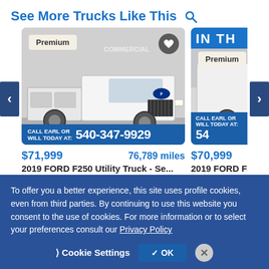See More Trucks Like This
[Figure (photo): White 2019 Ford F250 Utility Truck listing card showing truck photo, 'CALL EARL OR WILL TODAY AT: 540-347-9929' banner, price $71,999, 76,789 miles, from Country Commercial Center]
$71,999
76,789 miles
2019 FORD F250 Utility Truck - Se...
Country Commercial Center
[Figure (photo): Partial listing card showing white 2019 Ford F250 from Country Commercial, price $70,999, partially cut off on right edge]
$70,999
2019 FORD F250
Country Commercial
To offer you a better experience, this site uses profile cookies, even from third parties. By continuing to use this website you consent to the use of cookies. For more information or to select your preferences consult our Privacy Policy
Cookie Settings
✓ OK